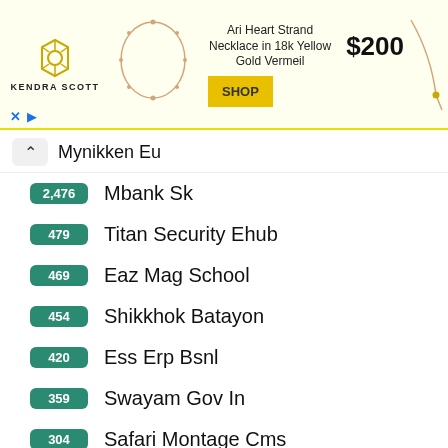[Figure (screenshot): Kendra Scott advertisement banner featuring Ari Heart Strand Necklace in 18k Yellow Gold Vermeil priced at $200 with a SHOP button]
Mynikken Eu
2,476 Mbank Sk
479 Titan Security Ehub
469 Eaz Mag School
454 Shikkhok Batayon
420 Ess Erp Bsnl
359 Swayam Gov In
304 Safari Montage Cms
Trending Portal Login Pages Like Https Book2